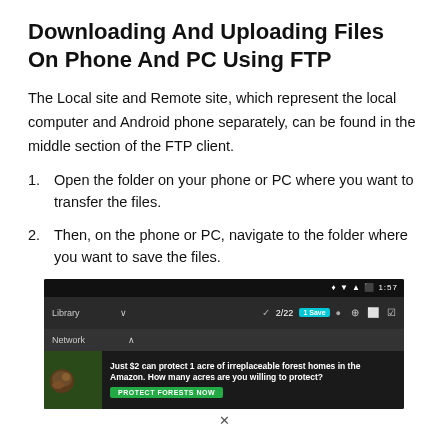Downloading And Uploading Files On Phone And PC Using FTP
The Local site and Remote site, which represent the local computer and Android phone separately, can be found in the middle section of the FTP client.
Open the folder on your phone or PC where you want to transfer the files.
Then, on the phone or PC, navigate to the folder where you want to save the files.
[Figure (screenshot): Screenshot of an Android file manager app showing a navigation bar with Library and Network sections, a check mark with 2/22 selected, and an advertisement banner about protecting forest homes in the Amazon with a green PROTECT FORESTS NOW button.]